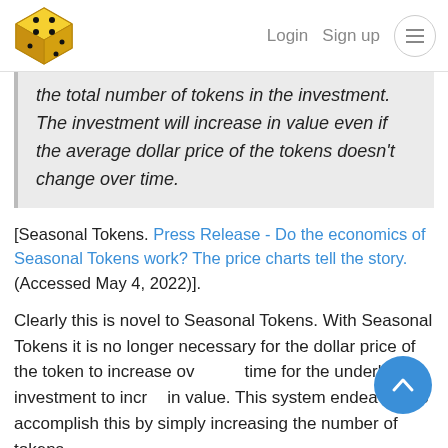Login  Sign up  [menu]
the total number of tokens in the investment. The investment will increase in value even if the average dollar price of the tokens doesn't change over time.
[Seasonal Tokens. Press Release - Do the economics of Seasonal Tokens work? The price charts tell the story. (Accessed May 4, 2022)].
Clearly this is novel to Seasonal Tokens. With Seasonal Tokens it is no longer necessary for the dollar price of the token to increase over time for the underlying investment to increase in value. This system endeavors to accomplish this by simply increasing the number of tokens